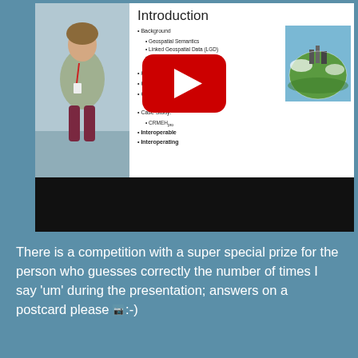[Figure (screenshot): Screenshot of a video presentation showing a speaker on the left and a slide titled 'Introduction' on the right. A YouTube play button overlay is visible. The slide lists bullet points about Geospatial Semantics, Linked Geospatial Data (LGD), CRMEH, Interoperable, and Interoperating topics, with a circular 'eartorama' photograph on the right side of the slide.]
There is a competition with a super special prize for the person who guesses correctly the number of times I say 'um' during the presentation; answers on a postcard please :-)